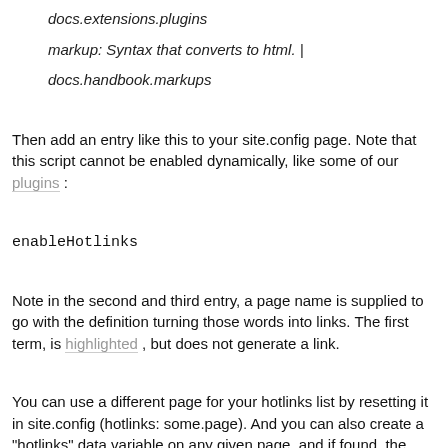docs.extensions.plugins
markup: Syntax that converts to html. | docs.handbook.markups
Then add an entry like this to your site.config page. Note that this script cannot be enabled dynamically, like some of our plugins:
enableHotlinks
Note in the second and third entry, a page name is supplied to go with the definition turning those words into links. The first term, is highlighted, but does not generate a link.
You can use a different page for your hotlinks list by resetting it in site.config (hotlinks: some.page). And you can also create a "hotlinks" data variable on any given page, and if found, the hotlinks script will use that content to create your hotlinks list. This allows you to have a different set of hotlinks on any given page, or override your default list on specific pages.